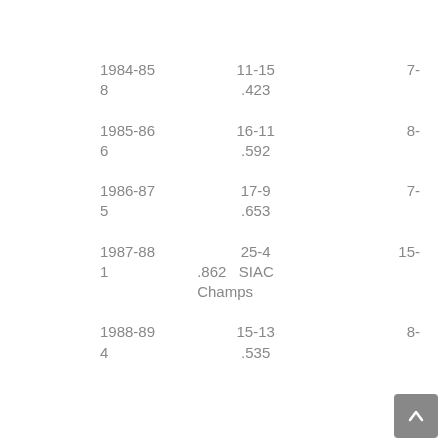| Year | Record | Conf | Pct | Notes |
| --- | --- | --- | --- | --- |
| 1984-85 | 11-15 | 7-8 | .423 |  |
| 1985-86 | 16-11 | 8-6 | .592 |  |
| 1986-87 | 17-9 | 7-5 | .653 |  |
| 1987-88 | 25-4 | 15-1 | .862 | SIAC Champs |
| 1988-89 | 15-13 | 8-4 | .535 |  |